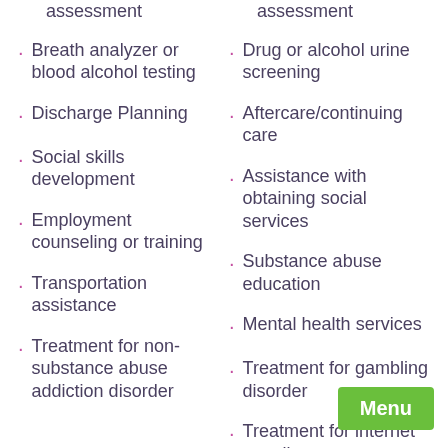assessment
assessment
Breath analyzer or blood alcohol testing
Drug or alcohol urine screening
Discharge Planning
Aftercare/continuing care
Social skills development
Assistance with obtaining social services
Employment counseling or training
Substance abuse education
Transportation assistance
Mental health services
Treatment for non-substance abuse addiction disorder
Treatment for gambling disorder
Treatment for internet use disorder
Individual counseling
Group counseling